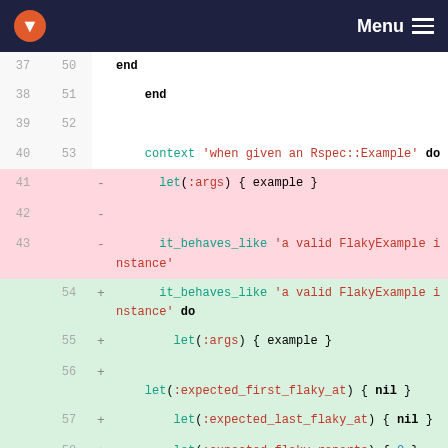Menu
[Figure (screenshot): Code diff view showing Ruby/RSpec code changes. Lines 37-44 (old) and 50-60 (new) are shown. Removed lines (41-43) have pink background with minus signs. Added lines (54-59) have green background with plus signs. Code includes context, let, it_behaves_like blocks in monospace font with syntax highlighting.]